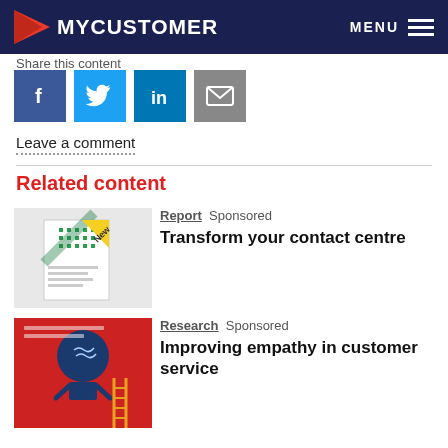MYCUSTOMER  MENU
Share this content
[Figure (infographic): Social share icons: Facebook, Twitter, LinkedIn, Email]
Leave a comment
Related content
[Figure (photo): Report thumbnail: The Total Economic Impact of Amazon Connect, with New badge]
Report  Sponsored
Transform your contact centre
[Figure (photo): Research thumbnail: Improving empathy in customer service, red cover]
Research  Sponsored
Improving empathy in customer service